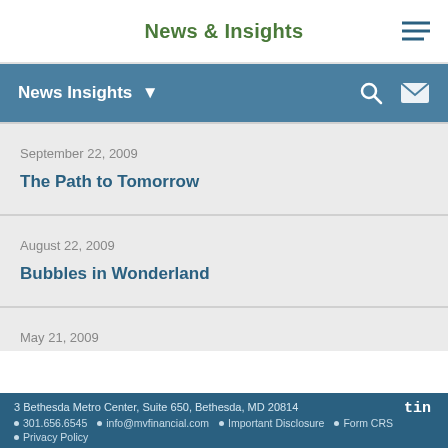News & Insights
News Insights
September 22, 2009
The Path to Tomorrow
August 22, 2009
Bubbles in Wonderland
May 21, 2009
3 Bethesda Metro Center, Suite 650, Bethesda, MD 20814 • 301.656.6545 • info@mvfinancial.com • Important Disclosure • Form CRS • Privacy Policy